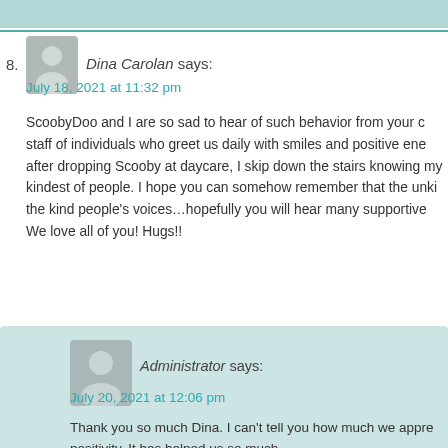8. Dina Carolan says:
July 18, 2021 at 11:32 pm
ScoobyDoo and I are so sad to hear of such behavior from your c… staff of individuals who greet us daily with smiles and positive ene… after dropping Scooby at daycare, I skip down the stairs knowing my… kindest of people. I hope you can somehow remember that the unki… the kind people's voices…hopefully you will hear many supportive… We love all of you! Hugs!!
Administrator says:
July 20, 2021 at 12:06 pm
Thank you so much Dina. I can't tell you how much we appre… positivity. It has helped us so much.